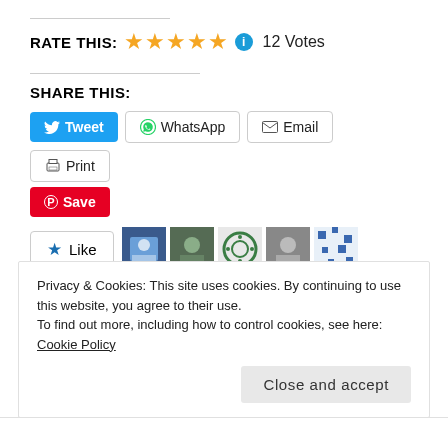RATE THIS: ★★★★★ ℹ 12 Votes
SHARE THIS:
Tweet | WhatsApp | Email | Print | Save
Like | [avatars] 5 bloggers like this.
Privacy & Cookies: This site uses cookies. By continuing to use this website, you agree to their use. To find out more, including how to control cookies, see here: Cookie Policy
Close and accept